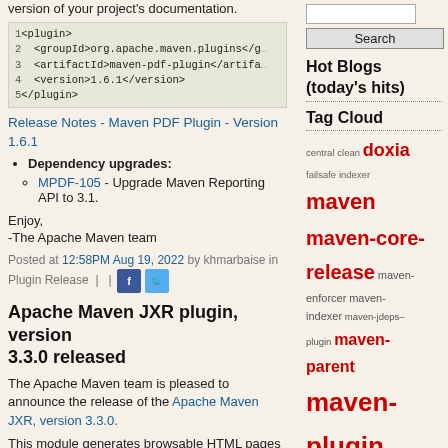version of your project's documentation.
1<plugin>
2  <groupId>org.apache.maven.plugins</groupId>
3  <artifactId>maven-pdf-plugin</artifactId>
4  <version>1.6.1</version>
5</plugin>
Release Notes - Maven PDF Plugin - Version 1.6.1
Dependency upgrades:
MPDF-105 - Upgrade Maven Reporting API to 3.1.
Enjoy,
-The Apache Maven team
Posted at 12:58PM Aug 19, 2022 by khmarbaise in Plugin Release | |
Apache Maven JXR plugin, version 3.3.0 released
The Apache Maven team is pleased to announce the release of the Apache Maven JXR, version 3.3.0.
This module generates browsable HTML pages from Java source code.
Hot Blogs (today's hits)
Tag Cloud
central clean doxia failsafe indexer maven maven-core-release maven-enforcer maven-indexer maven-jdeps-plugin maven-parent maven-plugin maven-resolver maven-shared maven-wagon parent plugin releases resolver scm shared skin surefire surefire-failsafe
Categories
All